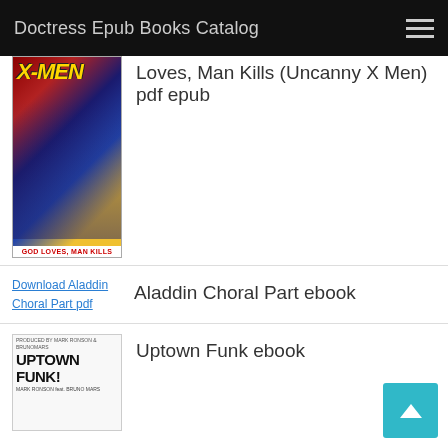Doctress Epub Books Catalog
[Figure (illustration): X-Men book cover – God Loves, Man Kills]
Loves, Man Kills (Uncanny X Men) pdf epub
[Figure (illustration): Broken image link for Download Aladdin Choral Part pdf]
Aladdin Choral Part ebook
[Figure (illustration): Uptown Funk book cover – Mark Ronson feat. Bruno Mars]
Uptown Funk ebook